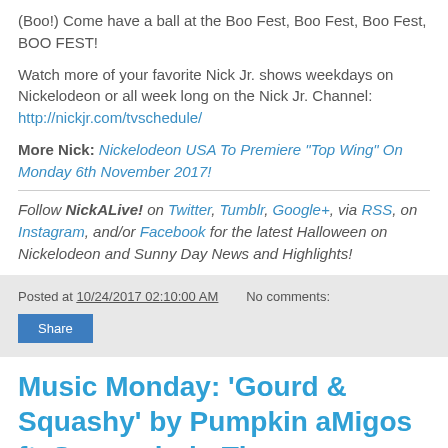(Boo!) Come have a ball at the Boo Fest, Boo Fest, Boo Fest, BOO FEST!
Watch more of your favorite Nick Jr. shows weekdays on Nickelodeon or all week long on the Nick Jr. Channel: http://nickjr.com/tvschedule/
More Nick: Nickelodeon USA To Premiere "Top Wing" On Monday 6th November 2017!
Follow NickALive! on Twitter, Tumblr, Google+, via RSS, on Instagram, and/or Facebook for the latest Halloween on Nickelodeon and Sunny Day News and Highlights!
Posted at 10/24/2017 02:10:00 AM   No comments:
Share
Music Monday: 'Gourd & Squashy' by Pumpkin aMigos ft. Spongebob, The